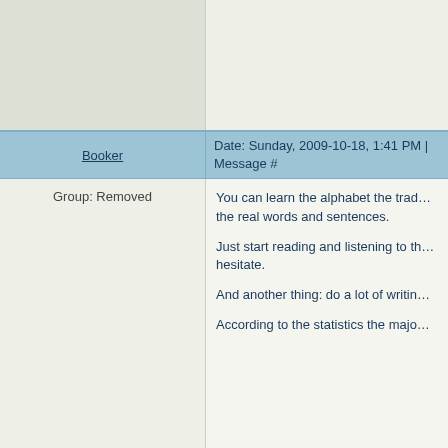| User | Message |
| --- | --- |
| Booker | Date: Sunday, 2009-10-18, 1:41 PM | Message # |
| Group: Removed | You can learn the alphabet the traditional way... Just start reading and listening to th... hesitate.

And another thing: do a lot of writin...

According to the statistics the majo... |
| Monk | Date: Sunday, 2009-10-18, 1:56 PM | Message # |
| Group: StudentF12
Messages: 1
Status: Offline | There is a Workbook for RSBS. It is... |
| Olga | Date: Sunday, 2009-10-18, 1:56 PM | Message # |
| [avatar] | Olga: Yes, Workbook Reading Rus... who had similar problems. They we... |